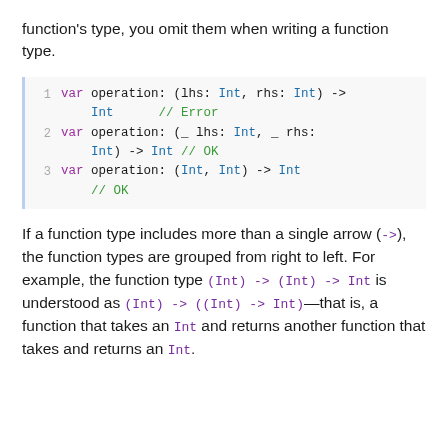function's type, you omit them when writing a function type.
[Figure (screenshot): Code block with 3 lines of Swift code showing variable declarations with function types. Line 1: var operation: (lhs: Int, rhs: Int) -> Int // Error. Line 2: var operation: (_ lhs: Int, _ rhs: Int) -> Int // OK. Line 3: var operation: (Int, Int) -> Int // OK]
If a function type includes more than a single arrow (->), the function types are grouped from right to left. For example, the function type (Int) -> (Int) -> Int is understood as (Int) -> ((Int) -> Int)—that is, a function that takes an Int and returns another function that takes and returns an Int.